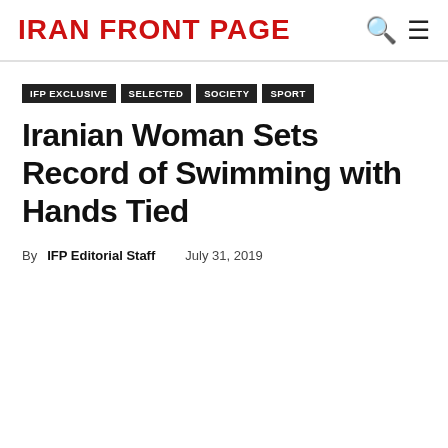IRAN FRONT PAGE
IFP EXCLUSIVE
SELECTED
SOCIETY
SPORT
Iranian Woman Sets Record of Swimming with Hands Tied
By IFP Editorial Staff   July 31, 2019